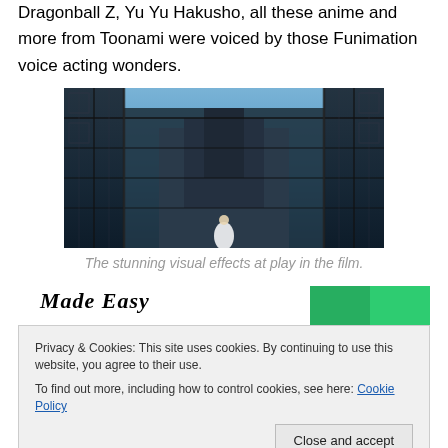Dragonball Z, Yu Yu Hakusho, all these anime and more from Toonami were voiced by those Funimation voice acting wonders.
[Figure (photo): A fantasy or anime-style architectural scene showing an ornate gate/castle structure viewed from behind a figure in a white dress, with dramatic ironwork and blue sky.]
The stunning visual effects at play in the film.
Made Easy
Privacy & Cookies: This site uses cookies. By continuing to use this website, you agree to their use.
To find out more, including how to control cookies, see here: Cookie Policy